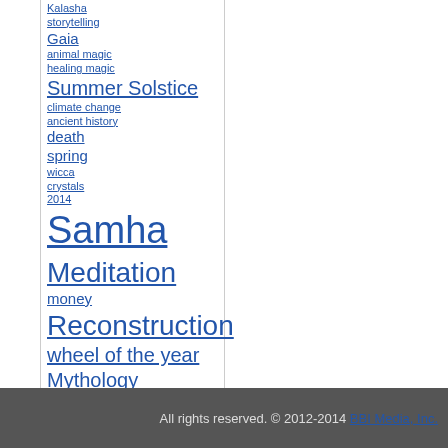Kalasha
storytelling
Gaia
animal magic
healing magic
Summer Solstice
climate change
ancient history
death
spring
wicca
crystals
2014
Samha
Meditation
money
Reconstruction
wheel of the year
Mythology
All rights reserved. © 2012-2014 BBI Media, Inc.